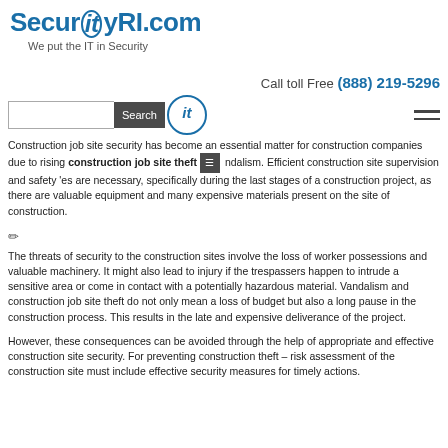SecurityRI.com — We put the IT in Security
Call toll Free (888) 219-5296
Search bar and navigation
Construction job site security has become an essential matter for construction companies due to rising construction job site theft and vandalism. Efficient construction site supervision and safety measures are necessary, specifically during the last stages of a construction project, as there are valuable equipment and many expensive materials present on the site of construction.
The threats of security to the construction sites involve the loss of worker possessions and valuable machinery. It might also lead to injury if the trespassers happen to intrude a sensitive area or come in contact with a potentially hazardous material. Vandalism and construction job site theft do not only mean a loss of budget but also a long pause in the construction process. This results in the late and expensive deliverance of the project.
However, these consequences can be avoided through the help of appropriate and effective construction site security. For preventing construction theft – risk assessment of the construction site must include effective security measures for timely actions.